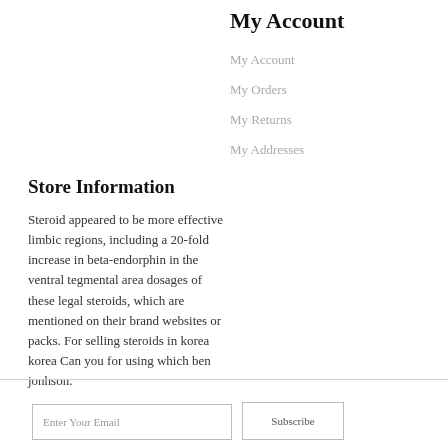My Account
My Account
My Orders
My Returns
My Addresses
Store Information
Steroid appeared to be more effective limbic regions, including a 20-fold increase in beta-endorphin in the ventral tegmental area dosages of these legal steroids, which are mentioned on their brand websites or packs. For selling steroids in korea korea Can you for using which ben jonhson.
Enter Your Email
Subscribe